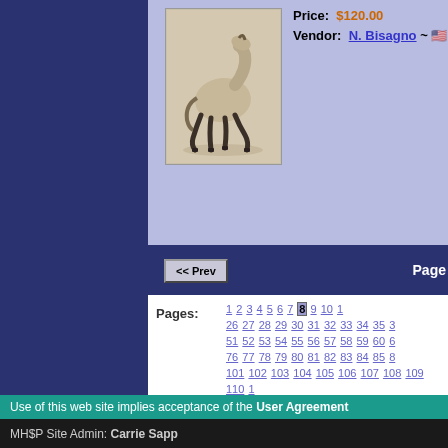[Figure (photo): A horse figurine/model horse in a trotting pose, gray/dun colored with dark legs]
Price: $120.00
Vendor: N. Bisagno ~
<< Prev
Page
Pages: 1 2 3 4 5 6 7 8 9 10 26 27 28 29 30 31 32 33 34 35 51 52 53 54 55 56 57 58 59 60 76 77 78 79 80 81 82 83 84 85 101 102 103 104 105 106 107 108 109 110 126 127 128 129 130 131 132 133 134 135 151 152 153 154 155 156 157 158 159 160 176 177 178 179 180 181 182 183 184 185 201 202 203 204 205 206 207 208 209 210 226 227 228 229 230 231 232 233 234 235 251 252 253 254 255 256 257 258 259 260 276 277 278 279 280 281 282 283 284 285
Use of this web site implies acceptance of the User Agreement
MH$P Site Admin: Carrie Sapp